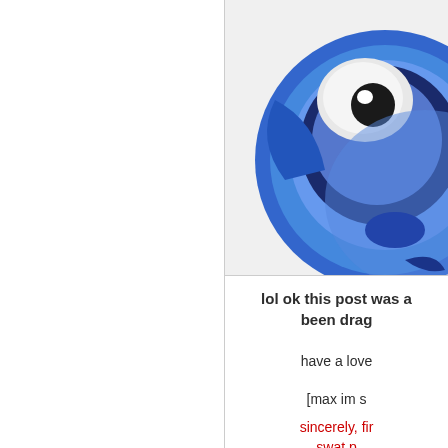[Figure (illustration): Blue cartoon fish or bird character with large eye, partially visible, cropped at right edge, on light gray background]
lol ok this post was a been drag
have a love
[max im s
sincerely, fir swat p